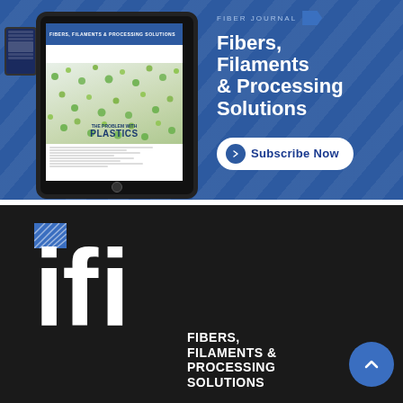[Figure (illustration): IFI Fiber Journal advertisement banner with blue background showing a tablet displaying a magazine cover about plastics, alongside text 'Fibers, Filaments & Processing Solutions' and a Subscribe Now button]
[Figure (logo): IFI Fibers, Filaments & Processing Solutions logo on dark/black background with large white letters 'ifi', a blue hatched square logo mark, and a blue circle scroll-up button]